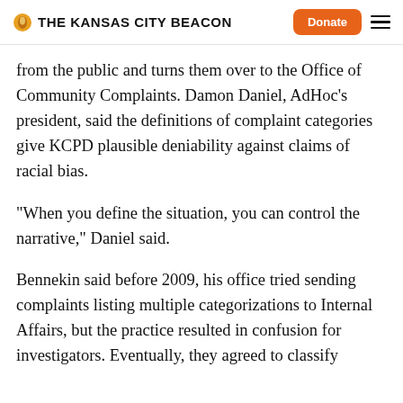THE KANSAS CITY BEACON
from the public and turns them over to the Office of Community Complaints. Damon Daniel, AdHoc's president, said the definitions of complaint categories give KCPD plausible deniability against claims of racial bias.
“When you define the situation, you can control the narrative,” Daniel said.
Bennekin said before 2009, his office tried sending complaints listing multiple categorizations to Internal Affairs, but the practice resulted in confusion for investigators. Eventually, they agreed to classify